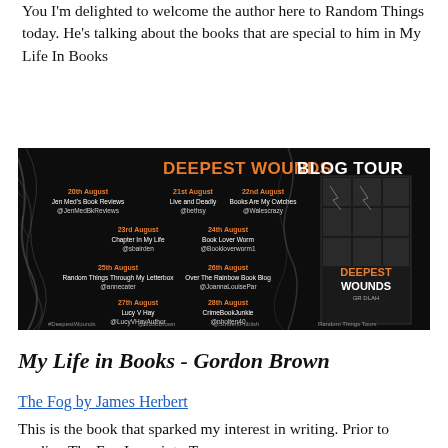You I'm delighted to welcome the author here to Random Things today. He's talking about the books that are special to him in My Life In Books
[Figure (infographic): Deepest Wounds Blog Tour banner. Black background with smoke/vines design. Title reads 'DEEPEST WOUNDS BLOG TOUR' in orange and white. Lists blog tour stops: 20th August - Jen Med's Book Reviews @JenMedBkReviews; 21st August - Live and Deadly @bethsy; 22nd August - Books Are My Cwtches @Walescrazy; 23rd August - Chapter In My Life @sbairden; 24th August - Book Lover Worm @Bookloverworm1; 25th August - Random Things Through My Letterbox @annecater; 26th August - Over The Rainbow Book Blog @JoannaLouisePar; 27th August - Lucy V Hay @LucyVHayAuthor; 28th August - CrimeBookJunkie @nholten40. Hashtags: #DeepestWounds @GoJoBrown @StridentPublish Random Things Tours. Book cover shown on right side.]
My Life in Books - Gordon Brown
The Fog by James Herbert
This is the book that sparked my interest in writing. Prior to reading The Fog I was into Tom